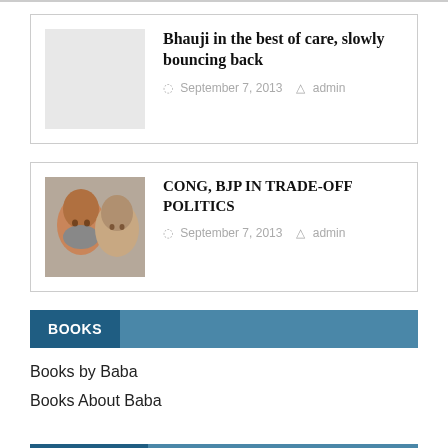Bhauji in the best of care, slowly bouncing back
September 7, 2013  admin
CONG, BJP IN TRADE-OFF POLITICS
September 7, 2013  admin
BOOKS
Books by Baba
Books About Baba
HIGHLIGHT